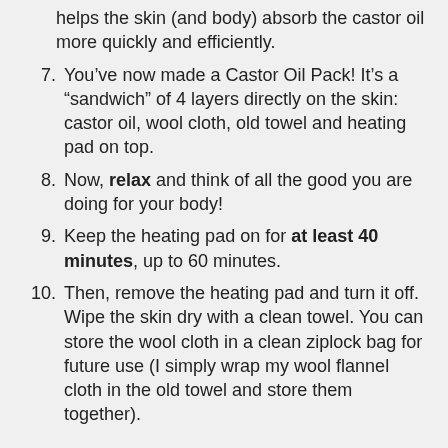helps the skin (and body) absorb the castor oil more quickly and efficiently.
7. You’ve now made a Castor Oil Pack! It’s a “sandwich” of 4 layers directly on the skin: castor oil, wool cloth, old towel and heating pad on top.
8. Now, relax and think of all the good you are doing for your body!
9. Keep the heating pad on for at least 40 minutes, up to 60 minutes.
10. Then, remove the heating pad and turn it off. Wipe the skin dry with a clean towel. You can store the wool cloth in a clean ziplock bag for future use (I simply wrap my wool flannel cloth in the old towel and store them together).